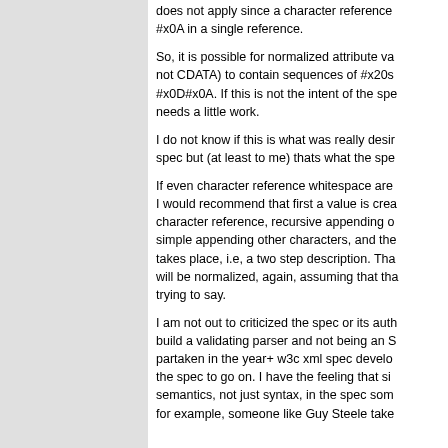does not apply since a character reference #x0A in a single reference.
So, it is possible for normalized attribute va not CDATA) to contain sequences of #x20s #x0D#x0A. If this is not the intent of the spe needs a little work.
I do not know if this is what was really desir spec but (at least to me) thats what the spe
If even character reference whitespace are I would recommend that first a value is crea character reference, recursive appending o simple appending other characters, and the takes place, i.e, a two step description. Tha will be normalized, again, assuming that tha trying to say.
I am not out to criticized the spec or its auth build a validating parser and not being an S partaken in the year+ w3c xml spec develo the spec to go on. I have the feeling that si semantics, not just syntax, in the spec som for example, someone like Guy Steele take